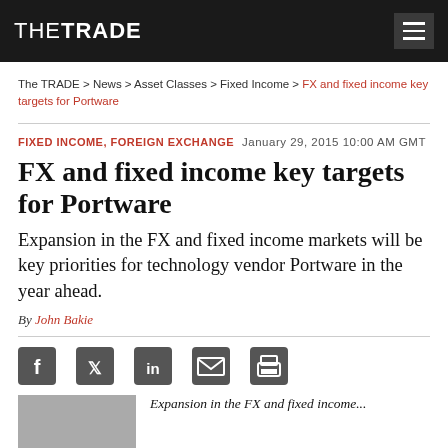THE TRADE
The TRADE > News > Asset Classes > Fixed Income > FX and fixed income key targets for Portware
FIXED INCOME, FOREIGN EXCHANGE   January 29, 2015 10:00 AM GMT
FX and fixed income key targets for Portware
Expansion in the FX and fixed income markets will be key priorities for technology vendor Portware in the year ahead.
By John Bakie
[Figure (infographic): Social sharing icons: Facebook, Twitter, LinkedIn, Email, Print]
Expansion in the FX and fixed income...